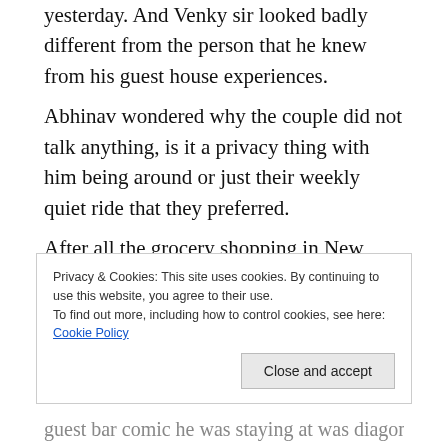yesterday. And Venky sir looked badly different from the person that he knew from his guest house experiences.
Abhinav wondered why the couple did not talk anything, is it a privacy thing with him being around or just their weekly quiet ride that they preferred.
After all the grocery shopping in New Jersey's busy Oak Tree town, they drove back home. The calm cold stillness, devoid of explicit human vocal interaction, still accompanying them.
Late afternoon, as Abhinav got back to his preparation
Privacy & Cookies: This site uses cookies. By continuing to use this website, you agree to their use.
To find out more, including how to control cookies, see here: Cookie Policy
Close and accept
guest bar comic he was staying at was diagonally